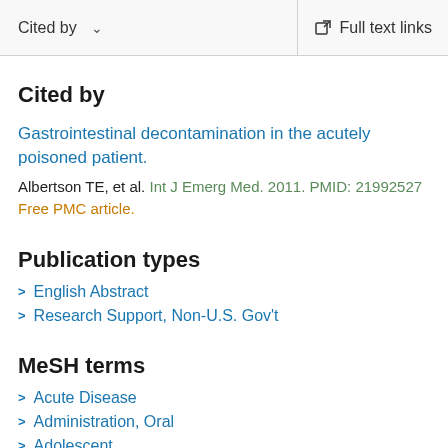Cited by   ∨   Full text links
Cited by
Gastrointestinal decontamination in the acutely poisoned patient.
Albertson TE, et al. Int J Emerg Med. 2011. PMID: 21992527 Free PMC article.
Publication types
English Abstract
Research Support, Non-U.S. Gov't
MeSH terms
Acute Disease
Administration, Oral
Adolescent